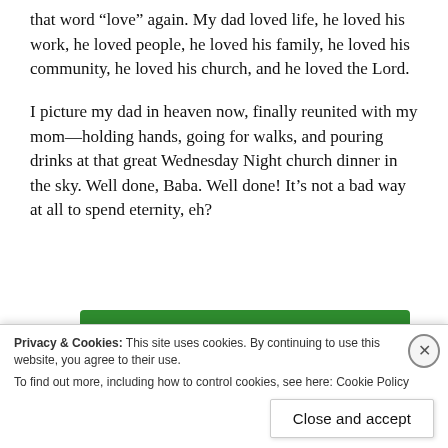that word “love” again. My dad loved life, he loved his work, he loved people, he loved his family, he loved his community, he loved his church, and he loved the Lord.
I picture my dad in heaven now, finally reunited with my mom—holding hands, going for walks, and pouring drinks at that great Wednesday Night church dinner in the sky. Well done, Baba. Well done! It’s not a bad way at all to spend eternity, eh?
[Figure (screenshot): Green advertisement banner with white rounded rectangle containing 'Back up your site' text in green]
Privacy & Cookies: This site uses cookies. By continuing to use this website, you agree to their use.
To find out more, including how to control cookies, see here: Cookie Policy
Close and accept